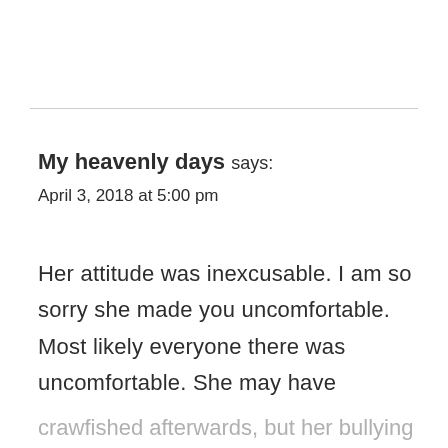My heavenly days says:
April 3, 2018 at 5:00 pm
Her attitude was inexcusable. I am so sorry she made you uncomfortable. Most likely everyone there was uncomfortable. She may have
crawfished afterwards, but her bullying